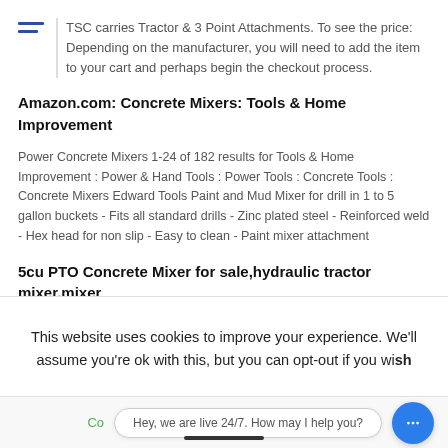TSC carries Tractor & 3 Point Attachments. To see the price: Depending on the manufacturer, you will need to add the item to your cart and perhaps begin the checkout process.
Amazon.com: Concrete Mixers: Tools & Home Improvement
Power Concrete Mixers 1-24 of 182 results for Tools & Home Improvement : Power & Hand Tools : Power Tools : Concrete Tools : Concrete Mixers Edward Tools Paint and Mud Mixer for drill in 1 to 5 gallon buckets - Fits all standard drills - Zinc plated steel - Reinforced weld - Hex head for non slip - Easy to clean - Paint mixer attachment
5cu PTO Concrete Mixer for sale,hydraulic tractor mixer,mixer
This website uses cookies to improve your experience. We'll assume you're ok with this, but you can opt-out if you wish
Hey, we are live 24/7. How may I help you?